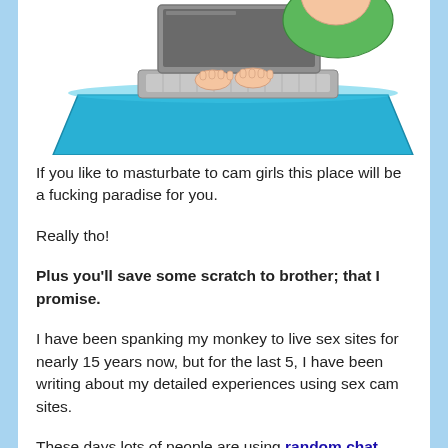[Figure (illustration): Cartoon illustration of a person in a green shirt typing on a laptop computer placed on a blue table, viewed from above/side angle. Only the upper body and hands are visible.]
If you like to masturbate to cam girls this place will be a fucking paradise for you.
Really tho!
Plus you'll save some scratch to brother; that I promise.
I have been spanking my monkey to live sex sites for nearly 15 years now, but for the last 5, I have been writing about my detailed experiences using sex cam sites.
These days lots of people are using random chat sites